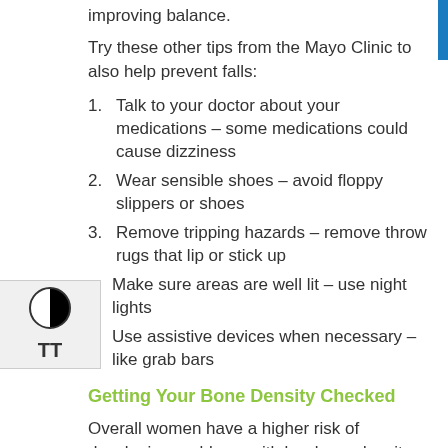improving balance.
Try these other tips from the Mayo Clinic to also help prevent falls:
1.  Talk to your doctor about your medications – some medications could cause dizziness
2.  Wear sensible shoes – avoid floppy slippers or shoes
3.  Remove tripping hazards – remove throw rugs that lip or stick up
4.  Make sure areas are well lit – use night lights
5.  Use assistive devices when necessary – like grab bars
Getting Your Bone Density Checked
Overall women have a higher risk of developing problems with low bone density because they have a lower peak bone density. Men with certain medical conditions or taking certain medications may be at